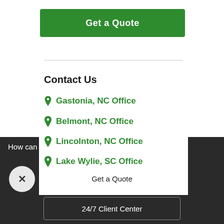Get a Quote
Contact Us
Gastonia, NC Office
Belmont, NC Office
Lincolnton, NC Office
Lake Wylie, SC Office
How can we help protect what's important to you?
Get a Quote
24/7 Client Center